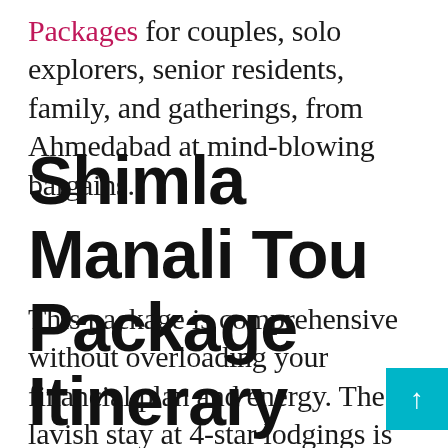Packages for couples, solo explorers, senior residents, family, and gatherings, from Ahmedabad at mind-blowing bargains.
This package is comprehensive without overloading your financial plan and energy. The lavish stay at 4-star lodgings is to match your appealing way of life.
Shimla Manali Tour Package Itinerary